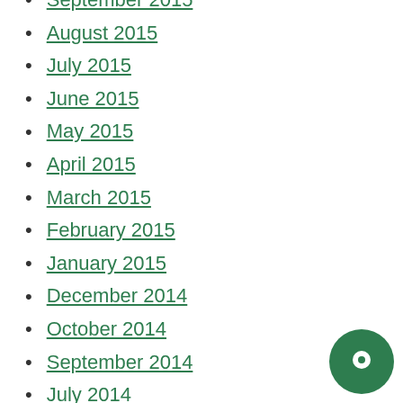September 2015
August 2015
July 2015
June 2015
May 2015
April 2015
March 2015
February 2015
January 2015
December 2014
October 2014
September 2014
July 2014
June 2014
April 2014
March 2014
February 2014
January 2014
December 2013